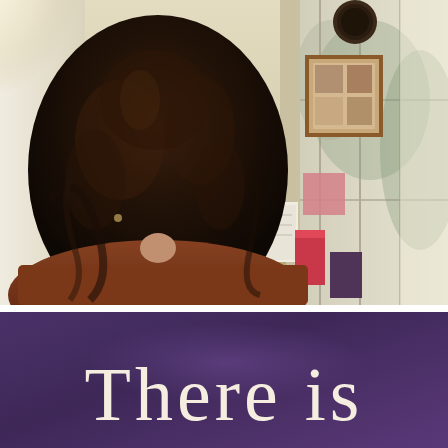[Figure (photo): Indoor photograph taken from behind a person with long dark curly hair wearing a brown/orange jacket, seated in a dark chair. The scene shows a home interior with a yellow/cream wall, a framed picture, clock, pink decorative items, shelves with books and papers, and large windows on both left and right showing winter trees outside.]
There is